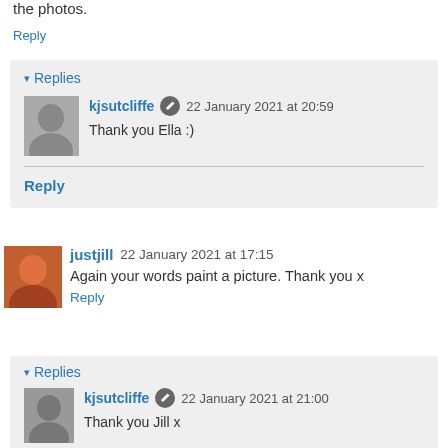the photos.
Reply
▾ Replies
kjsutcliffe ✎ 22 January 2021 at 20:59
Thank you Ella :)
Reply
justjill 22 January 2021 at 17:15
Again your words paint a picture. Thank you x
Reply
▾ Replies
kjsutcliffe ✎ 22 January 2021 at 21:00
Thank you Jill x